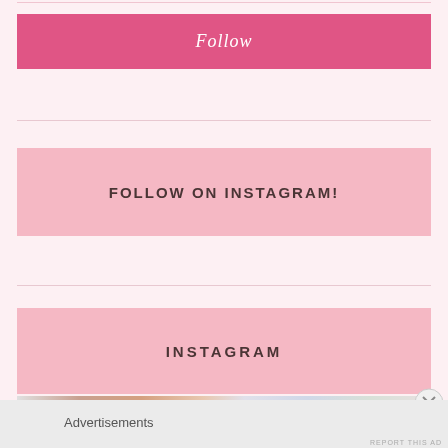Follow
FOLLOW ON INSTAGRAM!
INSTAGRAM
[Figure (screenshot): Partial Instagram photo strip showing cropped thumbnail images]
Advertisements
REPORT THIS AD